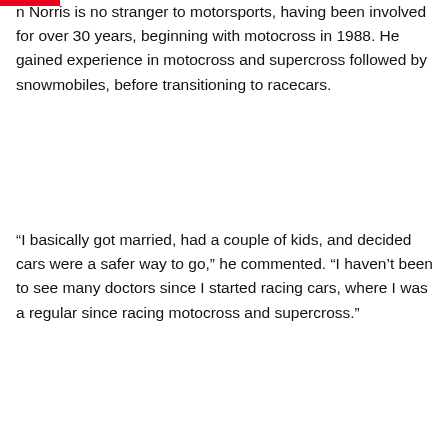n Norris is no stranger to motorsports, having been involved for over 30 years, beginning with motocross in 1988. He gained experience in motocross and supercross followed by snowmobiles, before transitioning to racecars.
“I basically got married, had a couple of kids, and decided cars were a safer way to go,” he commented. “I haven’t been to see many doctors since I started racing cars, where I was a regular since racing motocross and supercross.”
[Figure (other): EPARTRADE.com advertisement banner with dark navy background. Logo on left reads EPARTRADE .com with a white underline. Tagline reads '1 Click and the Racing Industry is right here.' with cursor icon. Orange button on right reads 'REGISTER HERE'.]
Since then, Tim Norris has spent a lot of time behind the wheel, including in the Pro Late